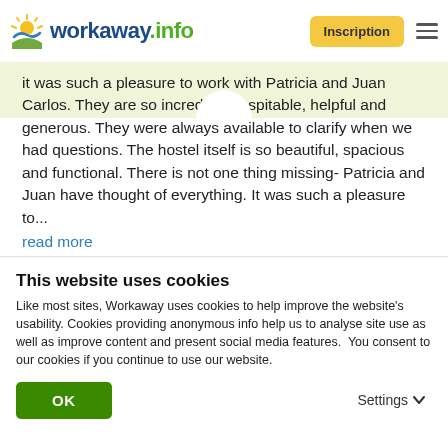[Figure (logo): Workaway.info logo with sun/wave graphic, Inscription button, and hamburger menu]
it was such a pleasure to work with Patricia and Juan Carlos. They are so incredibly hospitable, helpful and generous. They were always available to clarify when we had questions. The hostel itself is so beautiful, spacious and functional. There is not one thing missing- Patricia and Juan have thought of everything. It was such a pleasure to...
read more
[Figure (infographic): Green info icon circle with 5 gold star rating below]
This website uses cookies
Like most sites, Workaway uses cookies to help improve the website's usability. Cookies providing anonymous info help us to analyse site use as well as improve content and present social media features.  You consent to our cookies if you continue to use our website.
OK
Settings